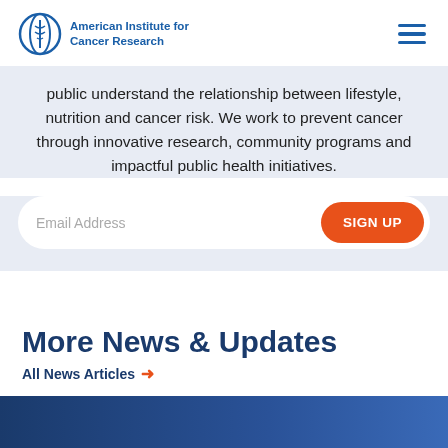American Institute for Cancer Research
public understand the relationship between lifestyle, nutrition and cancer risk. We work to prevent cancer through innovative research, community programs and impactful public health initiatives.
Email Address  SIGN UP
More News & Updates
All News Articles →
[Figure (other): Dark blue gradient banner at the bottom of the page]